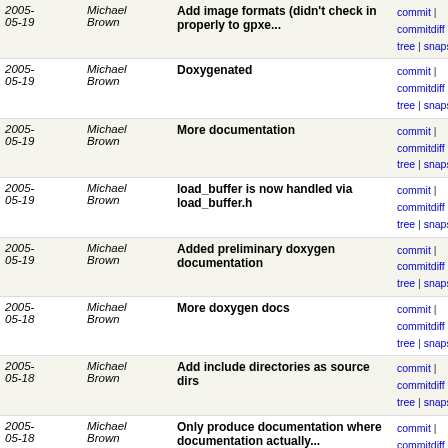| Date | Author | Message | Links |
| --- | --- | --- | --- |
| 2005-05-19 | Michael Brown | Add image formats (didn't check in properly to gpxe... | commit | commitdiff | tree | snapshot |
| 2005-05-19 | Michael Brown | Doxygenated | commit | commitdiff | tree | snapshot |
| 2005-05-19 | Michael Brown | More documentation | commit | commitdiff | tree | snapshot |
| 2005-05-19 | Michael Brown | load_buffer is now handled via load_buffer.h | commit | commitdiff | tree | snapshot |
| 2005-05-19 | Michael Brown | Added preliminary doxygen documentation | commit | commitdiff | tree | snapshot |
| 2005-05-18 | Michael Brown | More doxygen docs | commit | commitdiff | tree | snapshot |
| 2005-05-18 | Michael Brown | Add include directories as source dirs | commit | commitdiff | tree | snapshot |
| 2005-05-18 | Michael Brown | Only produce documentation where documentation actually... | commit | commitdiff | tree | snapshot |
| 2005-05-18 | Michael Brown | __attribute__ does not need to be treated as a variadic... | commit | commitdiff | tree | snapshot |
| 2005-05-18 | Michael Brown | Add doxygen documentation | commit | commitdiff | tree | snapshot |
| 2005-05-18 | Michael Brown | Document %m | commit | commitdiff | tree | snapshot |
| 2005-05-18 | Michael Brown | Linker symbols no longer defined in etherboot.h | commit | commitdiff | tree | snapshot |
| 2005-05-18 | Michael Brown | doxygen docs go in bin/doc | commit | commitdiff | tree | snapshot |